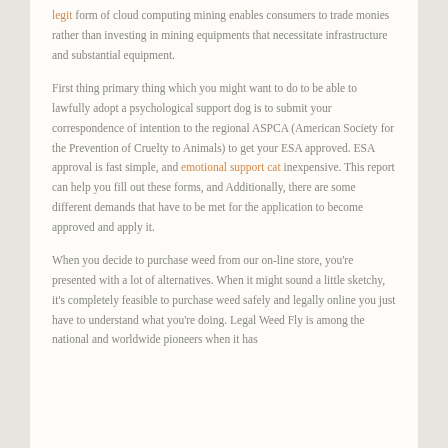legit form of cloud computing mining enables consumers to trade monies rather than investing in mining equipments that necessitate infrastructure and substantial equipment.
First thing primary thing which you might want to do to be able to lawfully adopt a psychological support dog is to submit your correspondence of intention to the regional ASPCA (American Society for the Prevention of Cruelty to Animals) to get your ESA approved. ESA approval is fast simple, and emotional support cat inexpensive. This report can help you fill out these forms, and Additionally, there are some different demands that have to be met for the application to become approved and apply it.
When you decide to purchase weed from our on-line store, you're presented with a lot of alternatives. When it might sound a little sketchy, it's completely feasible to purchase weed safely and legally online you just have to understand what you're doing. Legal Weed Fly is among the national and worldwide pioneers when it has